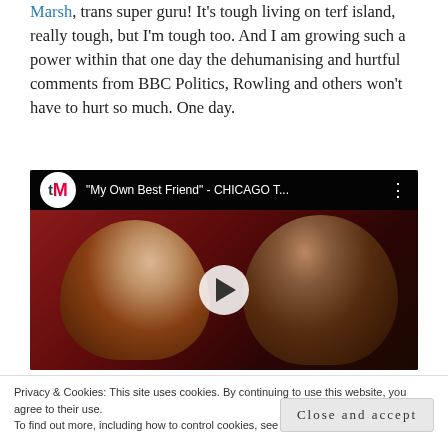Marsh, trans super guru! It's tough living on terf island, really tough, but I'm tough too. And I am growing such a power within that one day the dehumanising and hurtful comments from BBC Politics, Rowling and others won't have to hurt so much. One day.
[Figure (screenshot): Embedded YouTube video thumbnail showing two performers on stage with text: 'My Own Best Friend' - CHICAGO T... The tM logo (trans Media) appears in the top-left corner. A play button is shown in the center.]
Privacy & Cookies: This site uses cookies. By continuing to use this website, you agree to their use.
To find out more, including how to control cookies, see here: Cookie Policy
Close and accept